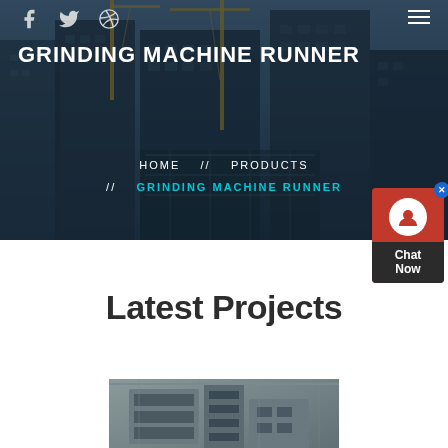[Figure (photo): Hero background: construction site with cranes and buildings under blue-grey sky, overlaid with dark semi-transparent layer]
GRINDING MACHINE RUNNER
HOME  //  PRODUCTS  //  GRINDING MACHINE RUNNER
Latest Projects
[Figure (photo): Industrial grinding or crushing machine equipment in a factory/plant setting]